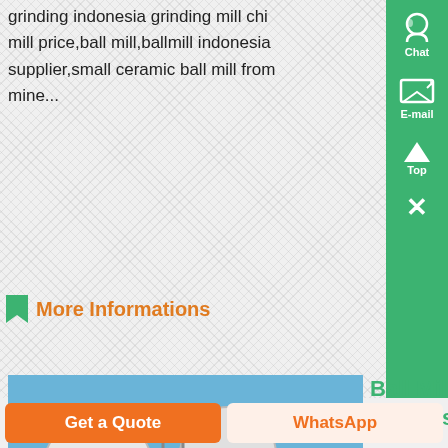grinding indonesia grinding mill china mill price,ball mill,ballmill indonesia supplier,small ceramic ball mill from mine...
More Informations
[Figure (photo): Industrial ball mill / ceramic processing facility with large cylindrical tanks and metal scaffolding against blue sky]
Ball Mill Ceramic Ball In Indonesia
Ball Mill Ceramic Ball In Indonesia Indonesia huaming alumina technology ltd china ball millindonesia huaming alumina technology ltd china ball millAlumina balls alumina grinding media ball mill linings alumina brick
Get a Quote
WhatsApp